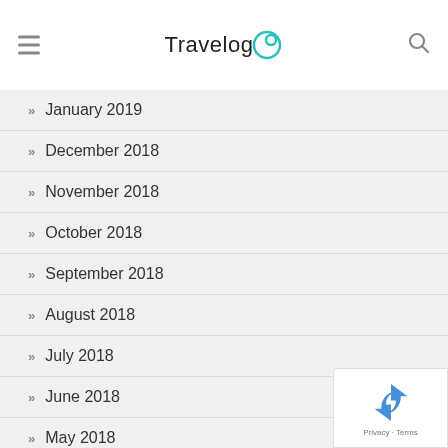Travelog
January 2019
December 2018
November 2018
October 2018
September 2018
August 2018
July 2018
June 2018
May 2018
April 2018
March 2018
[Figure (logo): reCAPTCHA logo with Privacy and Terms text]